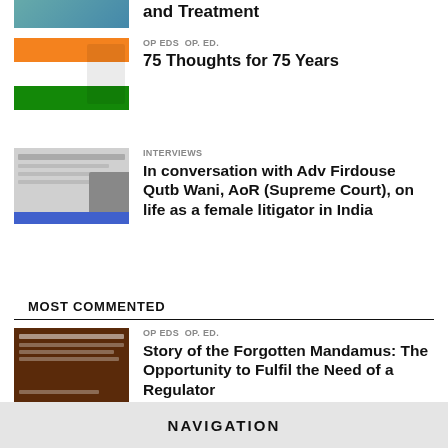and Treatment
OP EDS  OP. ED.
75 Thoughts for 75 Years
INTERVIEWS
In conversation with Adv Firdouse Qutb Wani, AoR (Supreme Court), on life as a female litigator in India
MOST COMMENTED
OP EDS  OP. ED.
Story of the Forgotten Mandamus: The Opportunity to Fulfil the Need of a Regulator
NAVIGATION